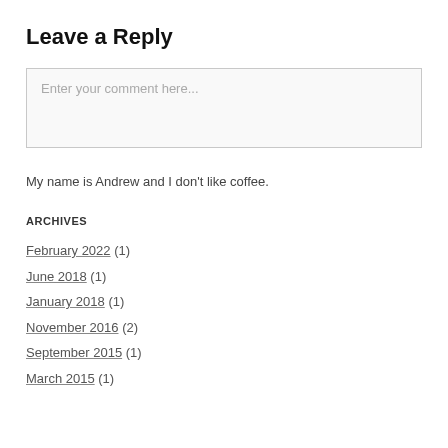Leave a Reply
Enter your comment here...
My name is Andrew and I don't like coffee.
ARCHIVES
February 2022 (1)
June 2018 (1)
January 2018 (1)
November 2016 (2)
September 2015 (1)
March 2015 (1)